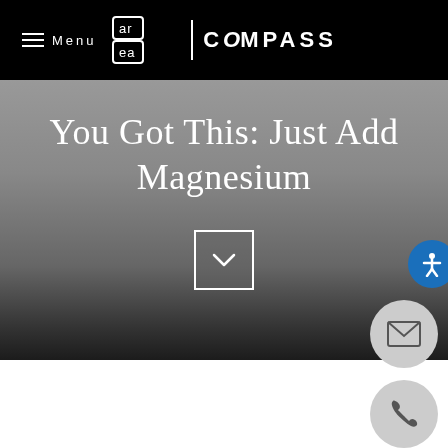Menu | area COMPASS
You Got This: Just Add Magnesium